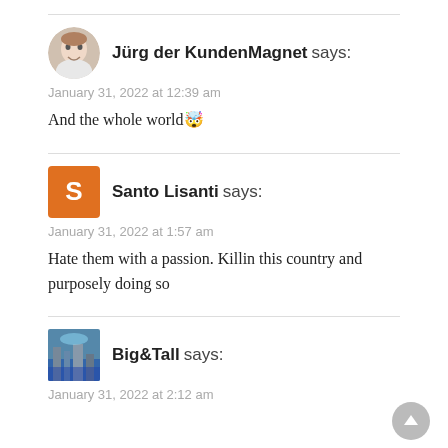Jürg der KundenMagnet says:
January 31, 2022 at 12:39 am
And the whole world 🤗
Santo Lisanti says:
January 31, 2022 at 1:57 am
Hate them with a passion. Killin this country and purposely doing so
Big&Tall says:
January 31, 2022 at 2:12 am